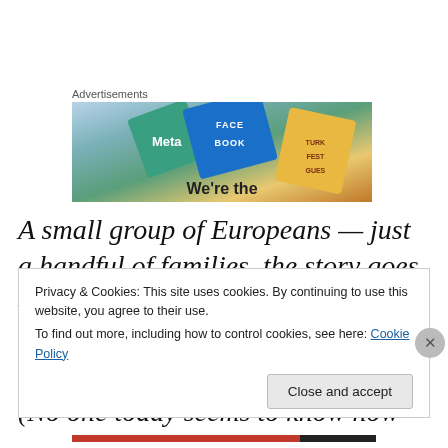Advertisements
[Figure (photo): Advertisement banner featuring Meta and Facebook branded cards/tiles with colorful background and text 'We're the']
A small group of Europeans — just a handful of families, the story goes — with much the same vision stumbled upon the Indian village in their search for a mountain refuge. (No one today seems to know how they got to North America from Europe.) The Europeans and the
Privacy & Cookies: This site uses cookies. By continuing to use this website, you agree to their use.
To find out more, including how to control cookies, see here: Cookie Policy
Close and accept